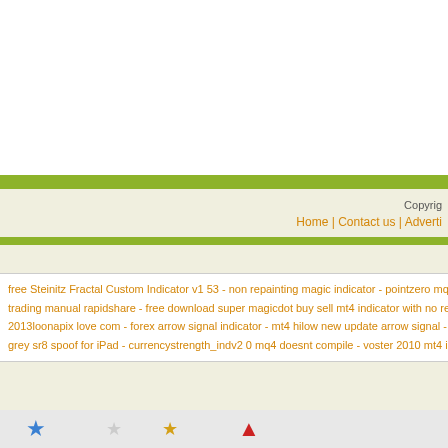Copyright
Home | Contact us | Adverti...
free Steinitz Fractal Custom Indicator v1 53 - non repainting magic indicator - pointzero mq4 - real work trading manual rapidshare - free download super magicdot buy sell mt4 indicator with no repaints - 2013loonapix love com - forex arrow signal indicator - mt4 hilow new update arrow signal - nitro forex to grey sr8 spoof for iPad - currencystrength_indv2 0 mq4 doesnt compile - voster 2010 mt4 indicator - stik...
[Figure (other): Bottom navigation strip with colored star icons]